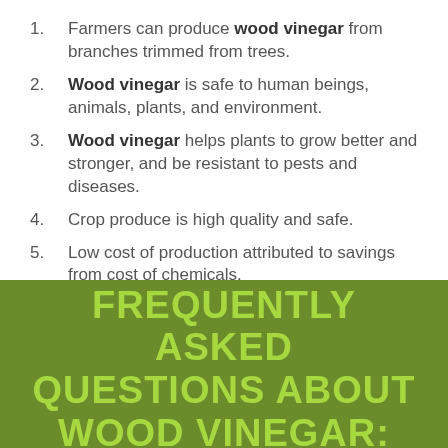Farmers can produce wood vinegar from branches trimmed from trees.
Wood vinegar is safe to human beings, animals, plants, and environment.
Wood vinegar helps plants to grow better and stronger, and be resistant to pests and diseases.
Crop produce is high quality and safe.
Low cost of production attributed to savings from cost of chemicals.
FREQUENTLY ASKED QUESTIONS ABOUT WOOD VINEGAR: